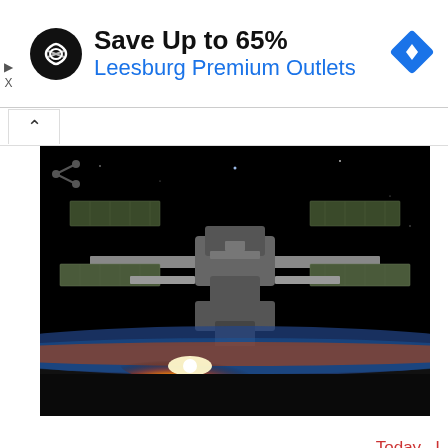[Figure (infographic): Advertisement banner: circular black logo with infinity-like symbol, text 'Save Up to 65%' in bold black, 'Leesburg Premium Outlets' in blue, blue diamond navigation icon on right]
[Figure (photo): Photograph of the International Space Station against black space with Earth's horizon and a bright sunrise/sunset glow at the bottom]
Today I found out that the astronauts and cosmonauts on the International Space Station witness around 15 sunrises and 15 sunsets every day.